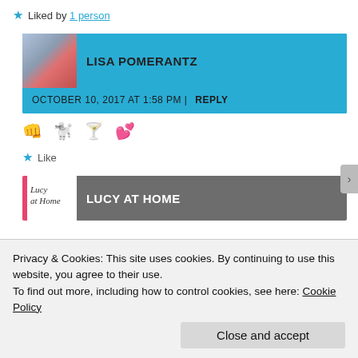★ Liked by 1 person
LISA POMERANTZ
OCTOBER 10, 2017 AT 1:58 PM | REPLY
👊 🐩 🍸 💕
★ Like
LUCY AT HOME
Privacy & Cookies: This site uses cookies. By continuing to use this website, you agree to their use.
To find out more, including how to control cookies, see here: Cookie Policy
Close and accept